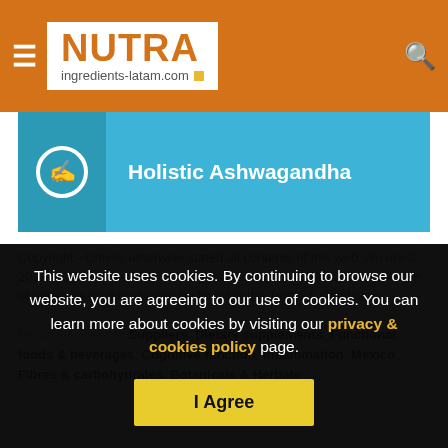NUTRA ingredients-latam.com
[Figure (illustration): Holistic Ashwagandha banner image in blue with icon and bold white text]
Copyright - Unless otherwise stated all contents of this web site are © 2022 - William Reed Ltd - All Rights Reserved - Full details for the use of materials on this site can be found in the Terms & Conditions
RELATED TOPICS: Suppliers, Dietary supplements, Functional foods & beverages, Cognitive function, Inflammation, Mexico, Fibres & carbohydrates, Botanicals & Herbals
This website uses cookies. By continuing to browse our website, you are agreeing to our use of cookies. You can learn more about cookies by visiting our privacy & cookies policy page.
I Agree